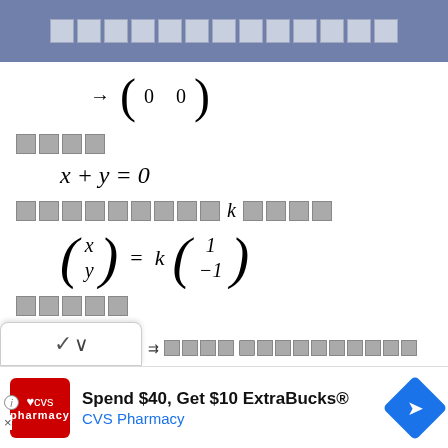█████████████
████
█████████ k ████
█████
█████ ████████████████